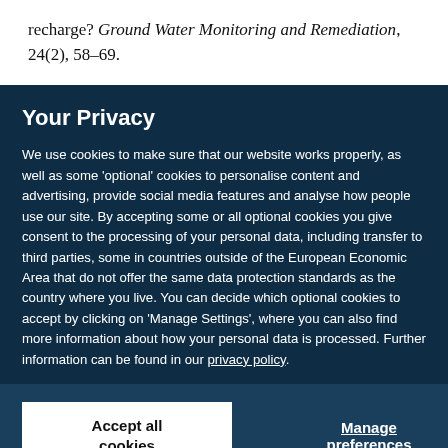recharge? Ground Water Monitoring and Remediation, 24(2), 58–69.
Your Privacy
We use cookies to make sure that our website works properly, as well as some 'optional' cookies to personalise content and advertising, provide social media features and analyse how people use our site. By accepting some or all optional cookies you give consent to the processing of your personal data, including transfer to third parties, some in countries outside of the European Economic Area that do not offer the same data protection standards as the country where you live. You can decide which optional cookies to accept by clicking on 'Manage Settings', where you can also find more information about how your personal data is processed. Further information can be found in our privacy policy.
Accept all cookies
Manage preferences